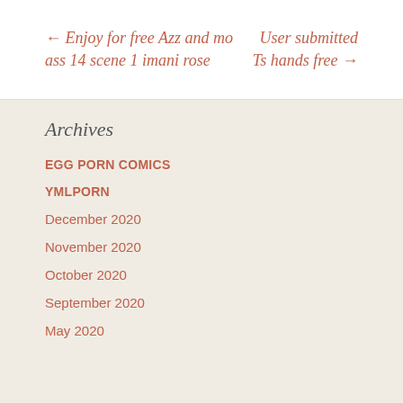← Enjoy for free Azz and mo ass 14 scene 1 imani rose    User submitted Ts hands free →
Archives
EGG PORN COMICS
YMLPORN
December 2020
November 2020
October 2020
September 2020
May 2020